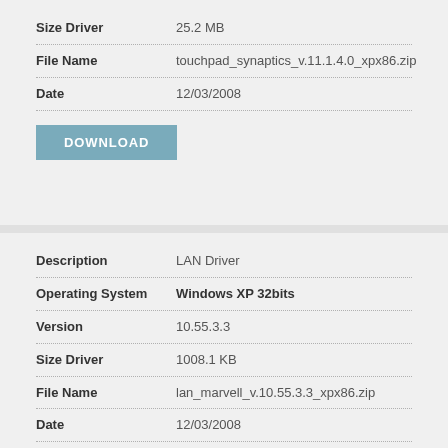| Field | Value |
| --- | --- |
| Size Driver | 25.2 MB |
| File Name | touchpad_synaptics_v.11.1.4.0_xpx86.zip |
| Date | 12/03/2008 |
DOWNLOAD
| Field | Value |
| --- | --- |
| Description | LAN Driver |
| Operating System | Windows XP 32bits |
| Version | 10.55.3.3 |
| Size Driver | 1008.1 KB |
| File Name | lan_marvell_v.10.55.3.3_xpx86.zip |
| Date | 12/03/2008 |
DOWNLOAD